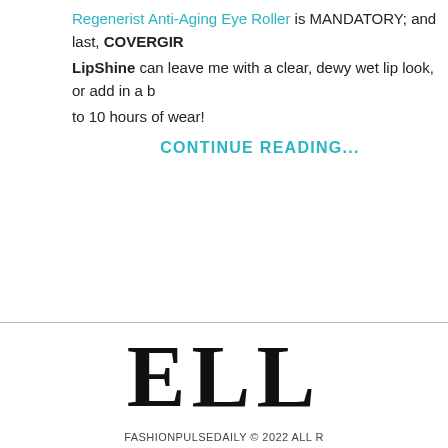Regenerist Anti-Aging Eye Roller is MANDATORY; and last, COVERGIRL LipShine can leave me with a clear, dewy wet lip look, or add in a b... to 10 hours of wear!
CONTINUE READING...
ELL
FASHIONPULSEDAILY © 2022 ALL R